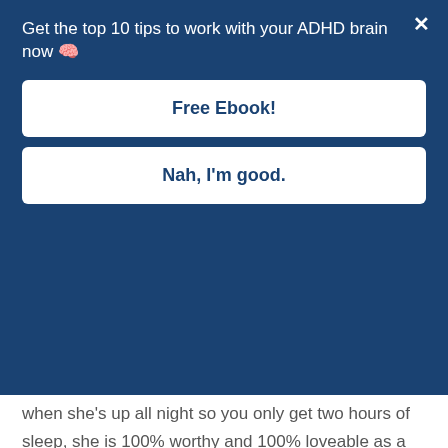Get the top 10 tips to work with your ADHD brain now 🧠
Free Ebook!
Nah, I'm good.
when she's up all night so you only get two hours of sleep, she is 100% worthy and 100% loveable as a little baby human, right?
Now, here's the deal. There is never a point in time when that little baby loses her worthiness. She keeps that worthiness all through her toddler years when she's crying and screaming over everything that doesn't go her way.